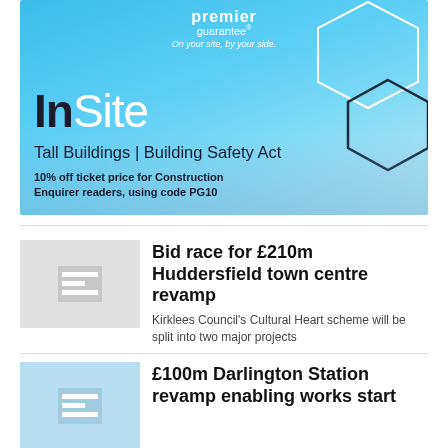[Figure (infographic): Premier Guarantee InSite advertisement banner. Light blue background with hexagonal geometric shapes. Logo reads 'premier guarantee' with tagline 'On your site, by your side.' Large text says 'InSite' with 'In' in bold dark and 'Site' in white. Subtitle: 'Tall Buildings | Building Safety Act'. Bold text: '10% off ticket price for Construction Enquirer readers, using code PG10']
Bid race for £210m Huddersfield town centre revamp
Kirklees Council's Cultural Heart scheme will be split into two major projects
£100m Darlington Station revamp enabling works start